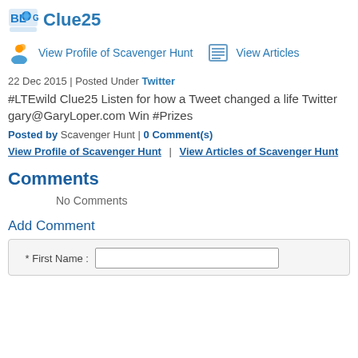BLOG Clue25
View Profile of Scavenger Hunt   View Articles
22 Dec 2015 | Posted Under Twitter
#LTEwild Clue25 Listen for how a Tweet changed a life Twitter gary@GaryLoper.com Win #Prizes
Posted by Scavenger Hunt | 0 Comment(s)
View Profile of Scavenger Hunt  |  View Articles of Scavenger Hunt
Comments
No Comments
Add Comment
* First Name :